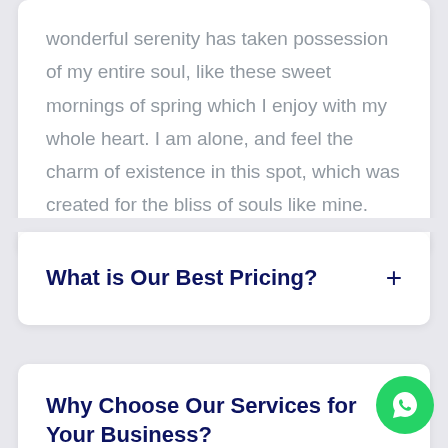wonderful serenity has taken possession of my entire soul, like these sweet mornings of spring which I enjoy with my whole heart. I am alone, and feel the charm of existence in this spot, which was created for the bliss of souls like mine.
What is Our Best Pricing?
Why Choose Our Services for Your Business?